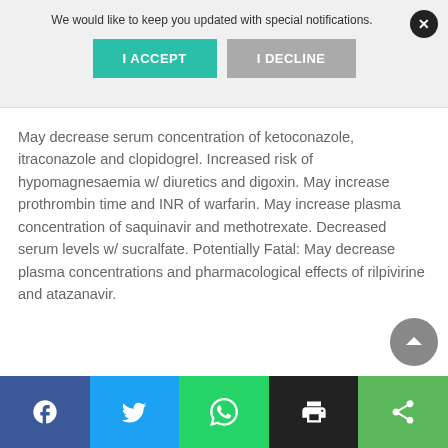We would like to keep you updated with special notifications.
I ACCEPT
I DECLINE
May decrease serum concentration of ketoconazole, itraconazole and clopidogrel. Increased risk of hypomagnesaemia w/ diuretics and digoxin. May increase prothrombin time and INR of warfarin. May increase plasma concentration of saquinavir and methotrexate. Decreased serum levels w/ sucralfate. Potentially Fatal: May decrease plasma concentrations and pharmacological effects of rilpivirine and atazanavir.